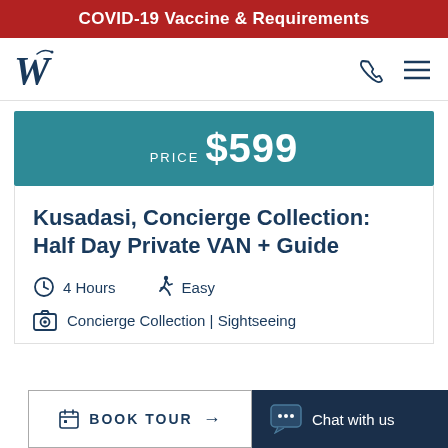COVID-19 Vaccine & Requirements
[Figure (logo): W logo for Worldwide cruise/travel company, dark navy blue stylized W with decorative top]
PRICE $599
Kusadasi, Concierge Collection: Half Day Private VAN + Guide
4 Hours   Easy
Concierge Collection | Sightseeing
BOOK TOUR   Chat with us